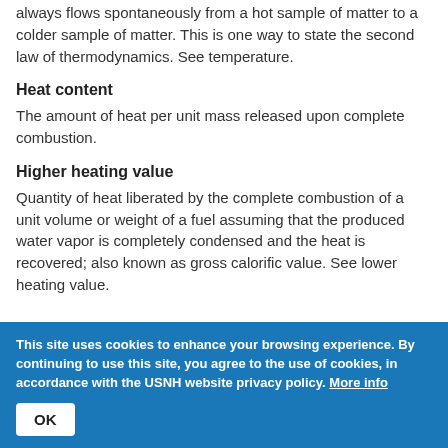always flows spontaneously from a hot sample of matter to a colder sample of matter. This is one way to state the second law of thermodynamics. See temperature.
Heat content
The amount of heat per unit mass released upon complete combustion.
Higher heating value
Quantity of heat liberated by the complete combustion of a unit volume or weight of a fuel assuming that the produced water vapor is completely condensed and the heat is recovered; also known as gross calorific value. See lower heating value.
This site uses cookies to enhance your browsing experience. By continuing to use this site, you agree to the use of cookies, in accordance with the USNH website privacy policy. More info